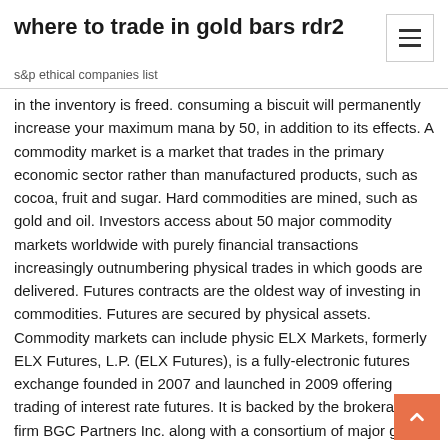where to trade in gold bars rdr2
s&p ethical companies list
in the inventory is freed. consuming a biscuit will permanently increase your maximum mana by 50, in addition to its effects. A commodity market is a market that trades in the primary economic sector rather than manufactured products, such as cocoa, fruit and sugar. Hard commodities are mined, such as gold and oil. Investors access about 50 major commodity markets worldwide with purely financial transactions increasingly outnumbering physical trades in which goods are delivered. Futures contracts are the oldest way of investing in commodities. Futures are secured by physical assets. Commodity markets can include physic ELX Markets, formerly ELX Futures, L.P. (ELX Futures), is a fully-electronic futures exchange founded in 2007 and launched in 2009 offering trading of interest rate futures. It is backed by the brokerage firm BGC Partners Inc. along with a consortium of major global investment banks and market makers.